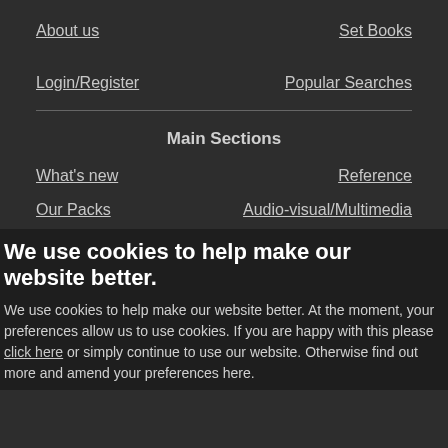About us
Set Books
Login/Register
Popular Searches
Main Sections
What's new
Reference
Our Packs
Audio-visual/Multimedia
We use cookies to help make our website better.
We use cookies to help make our website better. At the moment, your preferences allow us to use cookies. If you are happy with this please click here or simply continue to use our website. Otherwise find out more and amend your preferences here.